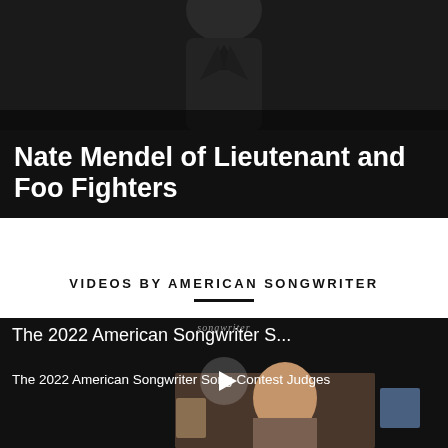[Figure (photo): Dark photo of a person wearing a dark jacket, upper body visible, against a very dark background]
Nate Mendel of Lieutenant and Foo Fighters
VIDEOS BY AMERICAN SONGWRITER
[Figure (screenshot): Video player thumbnail showing 'The 2022 American Songwriter S...' with subtitle 'The 2022 American Songwriter Song Contest Judges', featuring a person on screen and a play button overlay]
[Figure (infographic): Advertisement banner: Full Compass Systems - Call for Best Prices-Packages with an OPEN button]